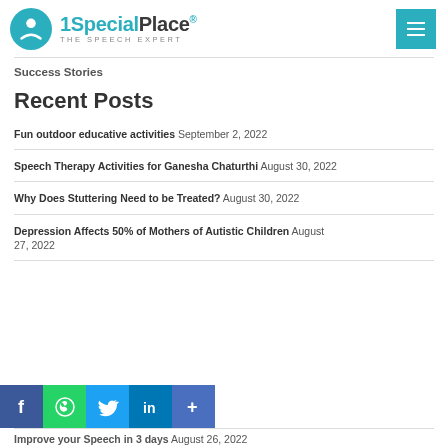1SpecialPlace® THE SPEECH EXPERT
Success Stories
Recent Posts
Fun outdoor educative activities September 2, 2022
Speech Therapy Activities for Ganesha Chaturthi August 30, 2022
Why Does Stuttering Need to be Treated? August 30, 2022
Depression Affects 50% of Mothers of Autistic Children August 27, 2022
Improve your Speech in 3 days August 26, 2022
[Figure (infographic): Social sharing bar with Facebook, WhatsApp, Twitter, LinkedIn, and Share (+) icons]